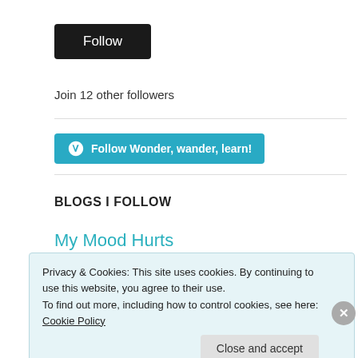[Figure (other): Black Follow button]
Join 12 other followers
[Figure (other): WordPress Follow Wonder, wander, learn! teal button]
BLOGS I FOLLOW
My Mood Hurts
Privacy & Cookies: This site uses cookies. By continuing to use this website, you agree to their use. To find out more, including how to control cookies, see here: Cookie Policy
Close and accept